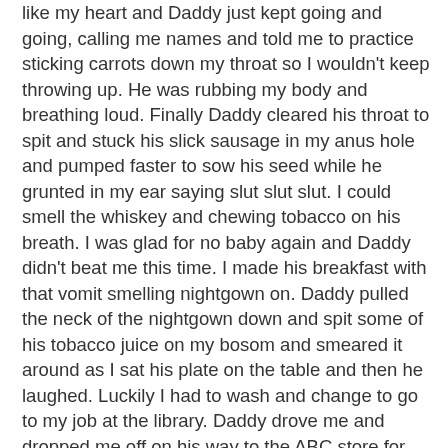like my heart and Daddy just kept going and going, calling me names and told me to practice sticking carrots down my throat so I wouldn't keep throwing up. He was rubbing my body and breathing loud. Finally Daddy cleared his throat to spit and stuck his slick sausage in my anus hole and pumped faster to sow his seed while he grunted in my ear saying slut slut slut. I could smell the whiskey and chewing tobacco on his breath. I was glad for no baby again and Daddy didn't beat me this time. I made his breakfast with that vomit smelling nightgown on. Daddy pulled the neck of the nightgown down and spit some of his tobacco juice on my bosom and smeared it around as I sat his plate on the table and then he laughed. Luckily I had to wash and change to go to my job at the library. Daddy drove me and dropped me off on his way to the ABC store for more whiskey. I guess as long as he has whiskey and can stick his part inside me he will be happy I hope.'